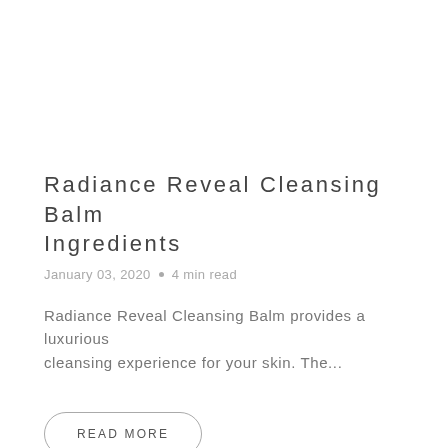Radiance Reveal Cleansing Balm Ingredients
January 03, 2020  •  4 min read
Radiance Reveal Cleansing Balm provides a luxurious cleansing experience for your skin. The...
READ MORE